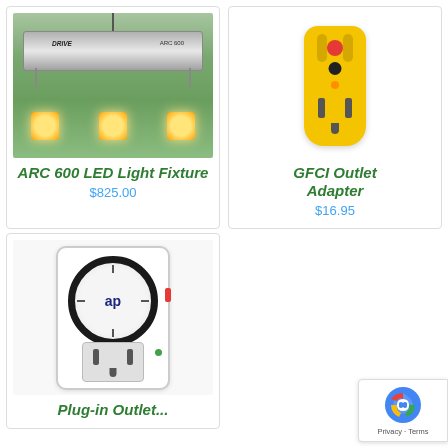[Figure (photo): ARC 600 LED Light Fixture hanging from chains with three warm LED lights glowing below a silver fixture body with DRIVE ARC 600 branding, plant background]
ARC 600 LED Light Fixture
$825.00
[Figure (photo): Yellow GFCI Outlet Adapter with red reset button, black test button, orange indicator light, and standard outlet slots on white background]
GFCI Outlet Adapter
$16.95
[Figure (photo): White plug-in outlet timer with circular analog dial showing AP logo in center, time markings around edge, red and green indicator tabs, and standard outlet plug below]
Plug-in Outlet...